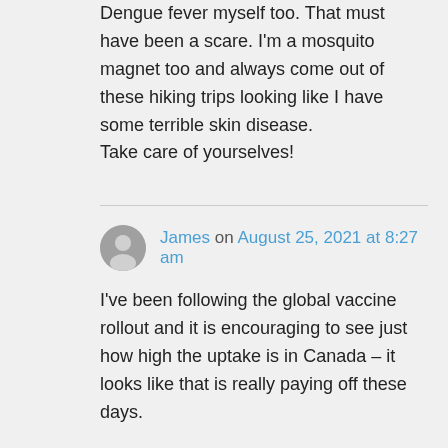Dengue fever myself too. That must have been a scare. I'm a mosquito magnet too and always come out of these hiking trips looking like I have some terrible skin disease. Take care of yourselves!
James on August 25, 2021 at 8:27 am
I've been following the global vaccine rollout and it is encouraging to see just how high the uptake is in Canada – it looks like that is really paying off these days.
Here in Jakarta things are really